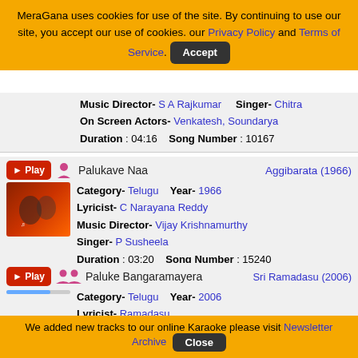MeraGana uses cookies for use of the site. By continuing to use our site, you accept our use of cookies. our Privacy Policy and Terms of Service. Accept
Music Director- S A Rajkumar   Singer- Chitra
On Screen Actors- Venkatesh, Soundarya
Duration : 04:16   Song Number : 10167
Palukave Naa   Aggibarata (1966)
Category- Telugu   Year- 1966
Lyricist- C Narayana Reddy
Music Director- Vijay Krishnamurthy
Singer- P Susheela
Duration : 03:20   Song Number : 15240
Paluke Bangaramayera   Sri Ramadasu (2006)
Category- Telugu   Year- 2006
Lyricist- Ramadasu
Music Director- M M Keeravani
Singer- M M Keeravani, Chitra
On Screen Actors- Sneha, Akkineni Nageswara Rao
Duration : 03:59   Song Number : 10233
We added new tracks to our online Karaoke please visit Newsletter Archive  Close